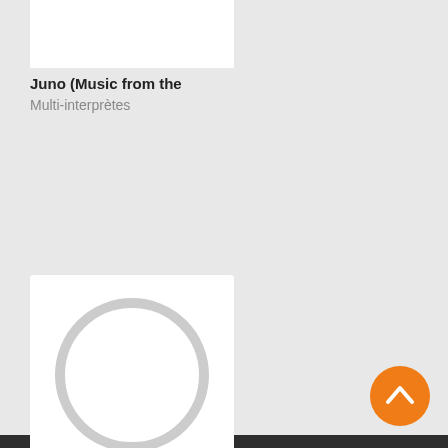[Figure (screenshot): Partial white album cover card at top, cropped]
Juno (Music from the
Multi-interprètes
[Figure (illustration): White album card with circular loading/placeholder graphic in center]
The Last Samurai (Original
Hans Zimmer
[Figure (other): Orange circular FAB button with upward chevron arrow]